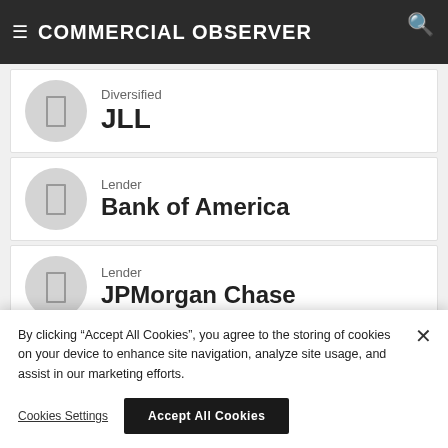COMMERCIAL OBSERVER
Diversified
JLL
Lender
Bank of America
Lender
JPMorgan Chase
By clicking “Accept All Cookies”, you agree to the storing of cookies on your device to enhance site navigation, analyze site usage, and assist in our marketing efforts.
Cookies Settings
Accept All Cookies